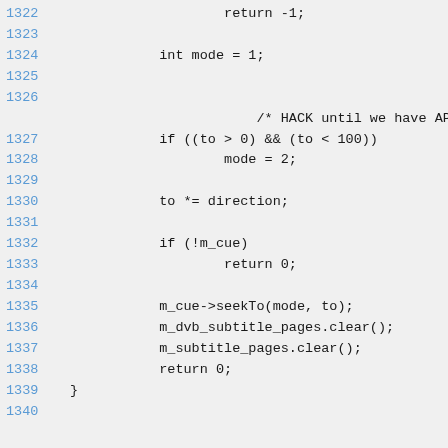1322    return -1;
1323
1324        int mode = 1;
1325
1326
            /* HACK until we have AP api */
1327        if ((to > 0) && (to < 100))
1328                mode = 2;
1329
1330        to *= direction;
1331
1332        if (!m_cue)
1333                return 0;
1334
1335        m_cue->seekTo(mode, to);
1336        m_dvb_subtitle_pages.clear();
1337        m_subtitle_pages.clear();
1338        return 0;
1339 }
1340